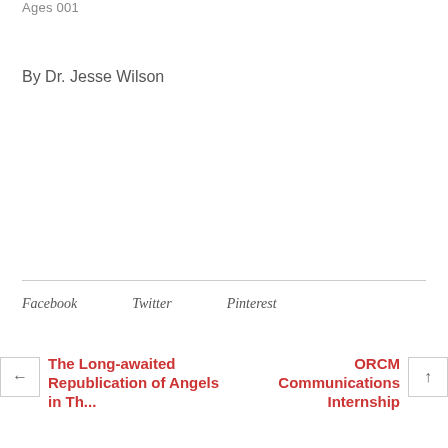Ages 001
By Dr. Jesse Wilson
Facebook   Twitter   Pinterest
← The Long-awaited Republication of Angels in Th...
ORCM Communications Internship ↑